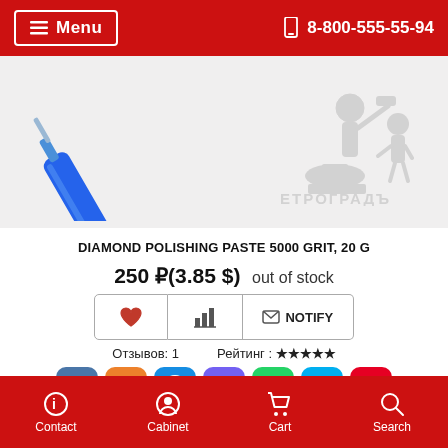☰ Menu  📱 8-800-555-55-94
[Figure (photo): Blue dental/medical syringe tool diagonally positioned on light gray background, with a faded gray logo watermark reading ETPOГРАДЪ (Petrograd) showing a blacksmith figure.]
DIAMOND POLISHING PASTE 5000 GRIT, 20 G
250 ₽(3.85 $)  out of stock
[Figure (infographic): Three action buttons: heart/favorite icon, bar chart icon, and envelope with NOTIFY text]
Отзывов: 1   Рейтинг : ★★★★★
[Figure (infographic): Social share buttons: VK, Odnoklassniki, MyWorld, Viber, WhatsApp, Skype, Pinterest]
Contact  Cabinet  Cart  Search